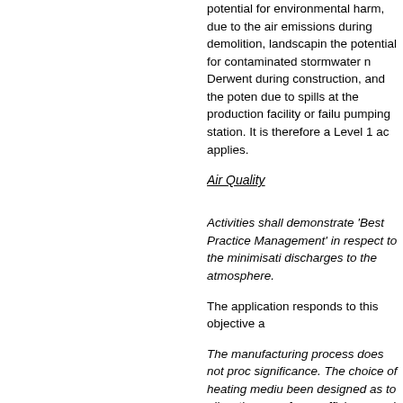potential for environmental harm, due to the air emissions during demolition, landscaping, the potential for contaminated stormwater runoff to the Derwent during construction, and the potential due to spills at the production facility or failure of the pumping station. It is therefore a Level 1 activity applies.
Air Quality
Activities shall demonstrate ‘Best Practice Management’ in respect to the minimisation of discharges to the atmosphere.
The application responds to this objective a
The manufacturing process does not produce significance. The choice of heating medium been designed as to allow the use of a very efficiency and minimise emissions. These common through food manufacture operations.
Grain delivery will arrive via an enclosed t delivered via pumping thus eliminating an